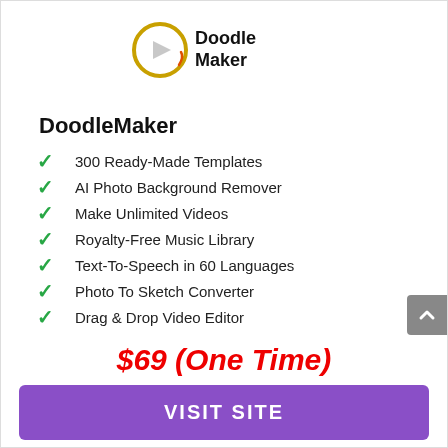[Figure (logo): DoodleMaker logo: circular icon with a play button and pencil drawing motif, gold/yellow ring, with bold text 'Doodle Maker' to its right]
DoodleMaker
300 Ready-Made Templates
AI Photo Background Remover
Make Unlimited Videos
Royalty-Free Music Library
Text-To-Speech in 60 Languages
Photo To Sketch Converter
Drag & Drop Video Editor
$69 (One Time)
VISIT SITE